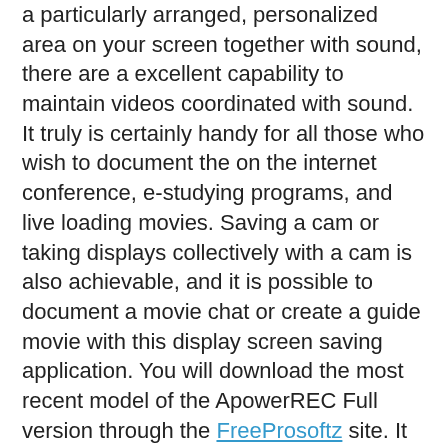a particularly arranged, personalized area on your screen together with sound, there are a excellent capability to maintain videos coordinated with sound. It truly is certainly handy for all those who wish to document the on the internet conference, e-studying programs, and live loading movies. Saving a cam or taking displays collectively with a cam is also achievable, and it is possible to document a movie chat or create a guide movie with this display screen saving application. You will download the most recent model of the ApowerREC Full version through the FreeProsoftz site. It is possible to additionally set it to quit documenting instantly when far above the document size or documenting time you might have personalized. If the user open up this computer software it exhibits you the consumer manual that displays on the dial.
Additionally, live-streaming videos can be watched on desktops. It's possible to watch online events on desktop